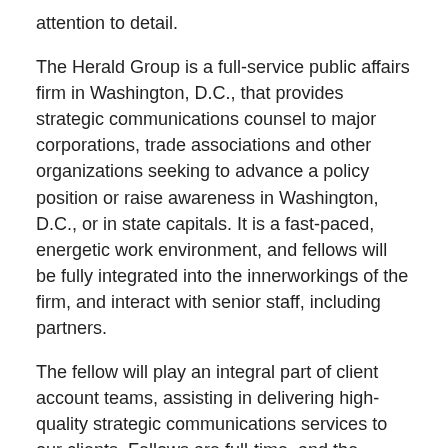attention to detail.
The Herald Group is a full-service public affairs firm in Washington, D.C., that provides strategic communications counsel to major corporations, trade associations and other organizations seeking to advance a policy position or raise awareness in Washington, D.C., or in state capitals. It is a fast-paced, energetic work environment, and fellows will be fully integrated into the innerworkings of the firm, and interact with senior staff, including partners.
The fellow will play an integral part of client account teams, assisting in delivering high-quality strategic communications services to our clients. Fellows are full-time, and the program is three months after which the fellow will be evaluated for full time employment depending on performance.
Qualifications: